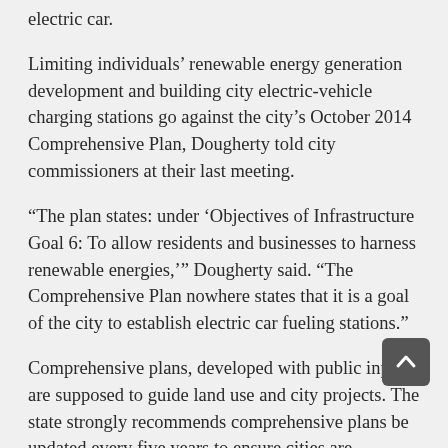electric car.
Limiting individuals' renewable energy generation development and building city electric-vehicle charging stations go against the city's October 2014 Comprehensive Plan, Dougherty told city commissioners at their last meeting.
“The plan states: under ‘Objectives of Infrastructure Goal 6: To allow residents and businesses to harness renewable energies,’” Dougherty said. “The Comprehensive Plan nowhere states that it is a goal of the city to establish electric car fueling stations.”
Comprehensive plans, developed with public input, are supposed to guide land use and city projects. The state strongly recommends comprehensive plans be updated every five years to ensure cities are continually planning and following their plans and aren’t undertaking projects that go beyond the plans.